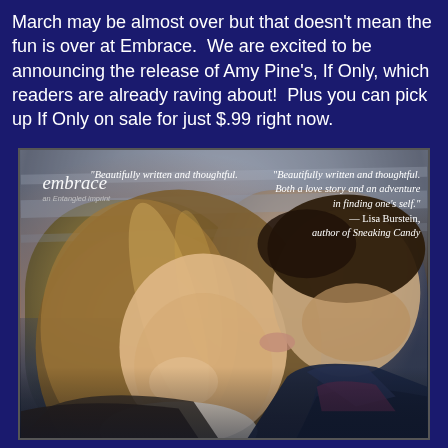March may be almost over but that doesn't mean the fun is over at Embrace. We are excited to be announcing the release of Amy Pine's, If Only, which readers are already raving about! Plus you can pick up If Only on sale for just $.99 right now.
[Figure (photo): Book cover for 'If Only' by Amy Pine, published by Embrace (an Entangled imprint). Shows a young couple - a smiling girl with long highlighted hair and a boy kissing her cheek, both in jackets, photographed in front of a blurred train or subway background. The Embrace logo appears in the upper left. A pull quote in the upper right reads: 'Beautifully written and thoughtful. Both a love story and an adventure in finding one's self.' — Lisa Burstein, author of Sneaking Candy.]